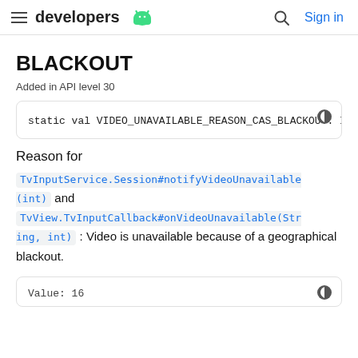developers (android logo) | Search | Sign in
BLACKOUT
Added in API level 30
static val VIDEO_UNAVAILABLE_REASON_CAS_BLACKOUT: Ir
Reason for
TvInputService.Session#notifyVideoUnavailable(int) and TvView.TvInputCallback#onVideoUnavailable(String, int) : Video is unavailable because of a geographical blackout.
Value: 16